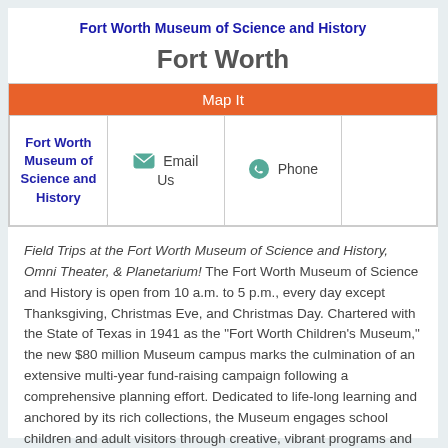Fort Worth Museum of Science and History
Fort Worth
| Map It |  |  |  |
| --- | --- | --- | --- |
| Fort Worth Museum of Science and History | Email Us | Phone |  |
Field Trips at the Fort Worth Museum of Science and History, Omni Theater, & Planetarium!  The Fort Worth Museum of Science and History is open from 10 a.m. to 5 p.m., every day except Thanksgiving, Christmas Eve, and Christmas Day. Chartered with the State of Texas in 1941 as the "Fort Worth Children's Museum," the new $80 million Museum campus marks the culmination of an extensive multi-year fund-raising campaign following a comprehensive planning effort. Dedicated to life-long learning and anchored by its rich collections, the Museum engages school children and adult visitors through creative, vibrant programs and exhibits interpreting science and the history of Texas a … Read more